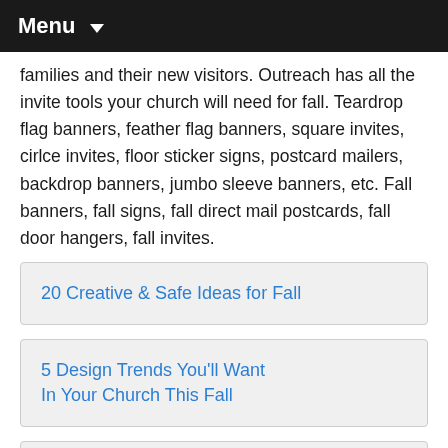Menu
families and their new visitors. Outreach has all the invite tools your church will need for fall. Teardrop flag banners, feather flag banners, square invites, cirlce invites, floor sticker signs, postcard mailers, backdrop banners, jumbo sleeve banners, etc. Fall banners, fall signs, fall direct mail postcards, fall door hangers, fall invites.
20 Creative & Safe Ideas for Fall
5 Design Trends You'll Want In Your Church This Fall
5 Ways NOT to Welcome Guests this Fall